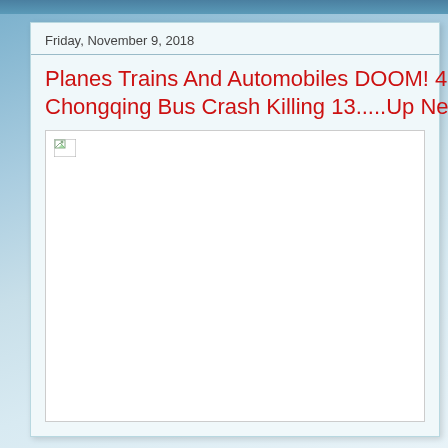Friday, November 9, 2018
Planes Trains And Automobiles DOOM! 47 De... Chongqing Bus Crash Killing 13.....Up Next....
[Figure (photo): Broken/missing image placeholder (white rectangle with broken image icon in top-left corner)]